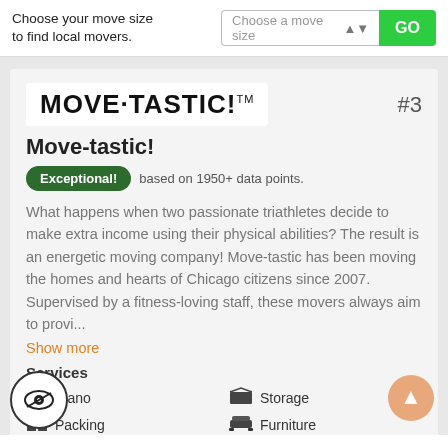Choose your move size to find local movers.
[Figure (screenshot): Dropdown UI element labeled 'Choose a move size' with a green GO button]
[Figure (logo): Move-tastic! company logo in bold black uppercase letters with TM symbol, ranked #3]
Move-tastic!
Exceptional! based on 1950+ data points.
What happens when two passionate triathletes decide to make extra income using their physical abilities? The result is an energetic moving company! Move-tastic has been moving the homes and hearts of Chicago citizens since 2007. Supervised by a fitness-loving staff, these movers always aim to provi...
Show more
Services
Piano
Storage
Packing
Furniture